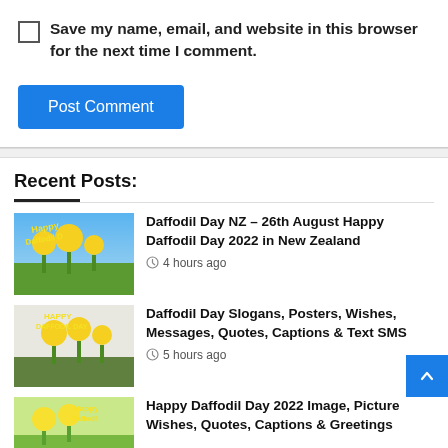Save my name, email, and website in this browser for the next time I comment.
Post Comment
Recent Posts:
Daffodil Day NZ – 26th August Happy Daffodil Day 2022 in New Zealand
4 hours ago
Daffodil Day Slogans, Posters, Wishes, Messages, Quotes, Captions & Text SMS
5 hours ago
Happy Daffodil Day 2022 Image, Picture Wishes, Quotes, Captions & Greetings